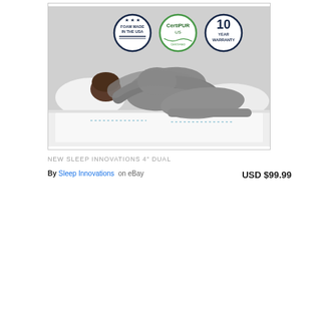[Figure (photo): Product photo of a Sleep Innovations 4-inch dual layer mattress topper. A woman is shown lying on her side on a bed using the mattress topper. Three certification badges are overlaid at the top: 'Foam Made in the USA' (dark blue circular badge with stars), 'CertiPUR-US' (green circular badge), and '10 Year Warranty' (dark blue circular badge). The mattress topper is shown below the woman with dashed blue lines indicating the foam layers.]
NEW SLEEP INNOVATIONS 4" DUAL
By Sleep Innovations  on eBay USD $99.99